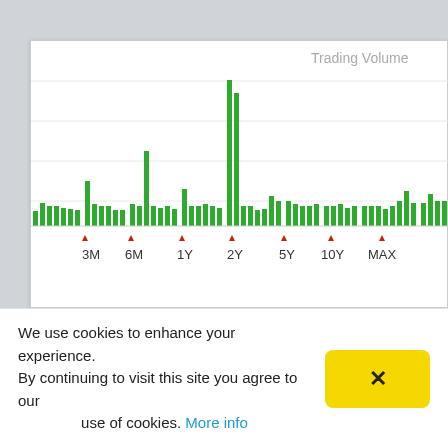[Figure (bar-chart): Trading Volume bar chart with time range selectors 3M, 6M, 1Y, 2Y, 5Y, 10Y, MAX marked with red triangle arrows]
We use cookies to enhance your experience. By continuing to visit this site you agree to our use of cookies. More info